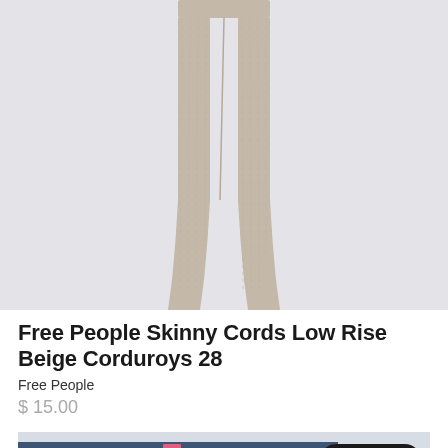[Figure (photo): Beige/tan skinny corduroy pants laid flat on a light gray background, showing full length from waist to hem]
Free People Skinny Cords Low Rise Beige Corduroys 28
Free People
$ 15.00
[Figure (photo): Dark blue denim jeans/shorts partially visible with a pink label, overlaid with a SOLD OUT badge]
SOLD OUT